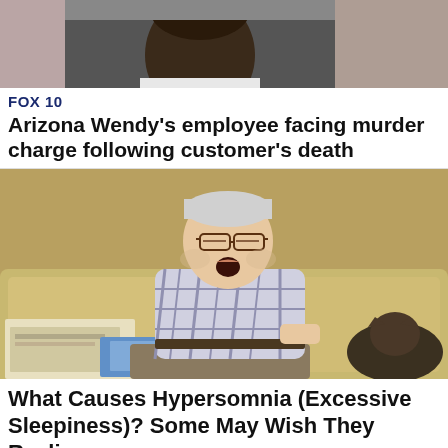[Figure (photo): Partial view of a person's face/head, appears to be a mugshot-style photo strip showing dark skin and a white shirt, with blurred/cropped portions on either side]
FOX 10
Arizona Wendy's employee facing murder charge following customer's death
[Figure (photo): An elderly man with glasses asleep on a beige couch, mouth open, wearing a plaid shirt, with newspapers and a cat beside him]
What Causes Hypersomnia (Excessive Sleepiness)? Some May Wish They Realize...